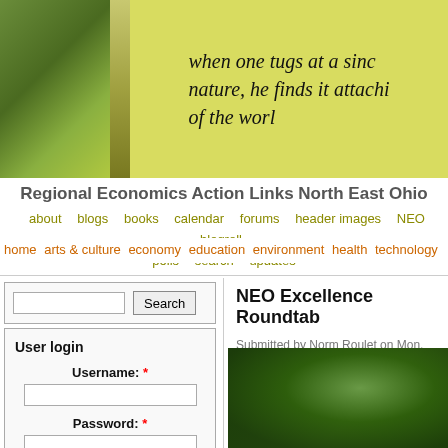[Figure (photo): Website header banner with outdoor photo on left and handwritten-style quote on yellow-green background: 'when one tugs at a sinc nature, he finds it attachi of the worl']
Regional Economics Action Links North East Ohio
about   blogs   books   calendar   forums   header images   NEO blogroll   polls   search   updates
home   arts & culture   economy   education   environment   health   technology
Search
User login
Username: *
Password: *
Log in
Request new password
The Origins of REALNEO
7GEN: Planning for the next 7 generations
NEO Excellence Roundtab
Submitted by Norm Roulet on Mon, 06/23
Start: 06/24/2008 - 18:00
End: 06/24/2008 - 19:00
[Figure (photo): Outdoor photo showing trees with green foliage]